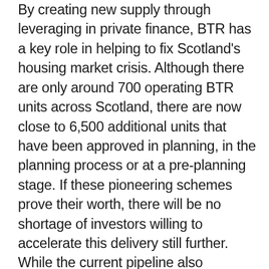By creating new supply through leveraging in private finance, BTR has a key role in helping to fix Scotland's housing market crisis. Although there are only around 700 operating BTR units across Scotland, there are now close to 6,500 additional units that have been approved in planning, in the planning process or at a pre-planning stage. If these pioneering schemes prove their worth, there will be no shortage of investors willing to accelerate this delivery still further. While the current pipeline also represents less than 2% of all PRS households in Scotland, the UK as a whole is now at more than 3 times this